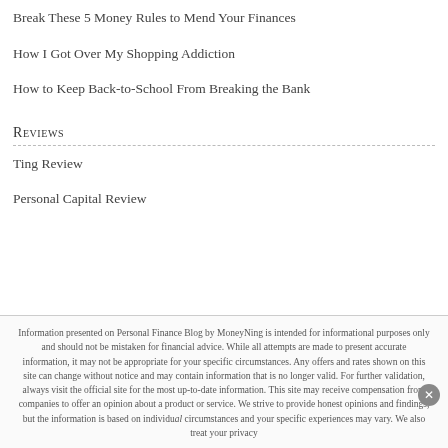Break These 5 Money Rules to Mend Your Finances
How I Got Over My Shopping Addiction
How to Keep Back-to-School From Breaking the Bank
Reviews
Ting Review
Personal Capital Review
Information presented on Personal Finance Blog by MoneyNing is intended for informational purposes only and should not be mistaken for financial advice. While all attempts are made to present accurate information, it may not be appropriate for your specific circumstances. Any offers and rates shown on this site can change without notice and may contain information that is no longer valid. For further validation, always visit the official site for the most up-to-date information. This site may receive compensation from companies to offer an opinion about a product or service. We strive to provide honest opinions and findings, but the information is based on individual circumstances and your specific experiences may vary. We also treat your privacy